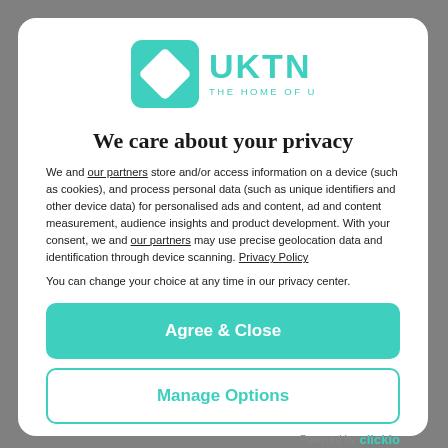[Figure (logo): UKTN logo — teal square with rotated white diamond, text 'UKTN THE HOME OF UK TECH' in teal]
We care about your privacy
We and our partners store and/or access information on a device (such as cookies), and process personal data (such as unique identifiers and other device data) for personalised ads and content, ad and content measurement, audience insights and product development. With your consent, we and our partners may use precise geolocation data and identification through device scanning. Privacy Policy
You can change your choice at any time in our privacy center.
Agree & Close
Manage Options
Powered by clickio